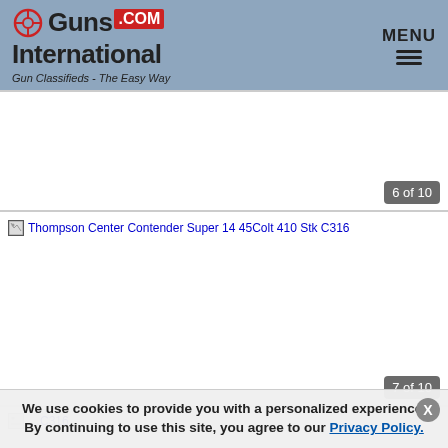Guns International .com - Gun Classifieds - The Easy Way
6 of 10
[Figure (screenshot): Broken image placeholder for Thompson Center Contender Super 14 45Colt 410 Stk C316, showing alt text]
7 of 10
[Figure (screenshot): Partial broken image placeholder for Thompson Center Contender Super 14 45Colt 410 Stk C316]
We use cookies to provide you with a personalized experience. By continuing to use this site, you agree to our Privacy Policy.